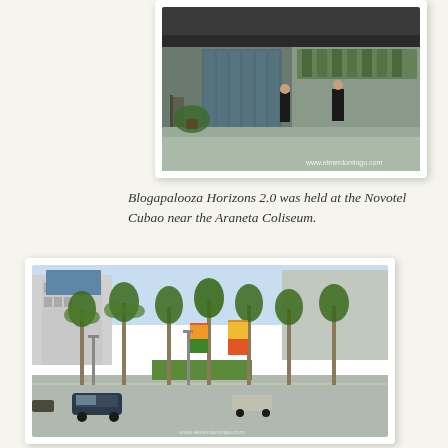[Figure (photo): Photo of a building entrance/facade with glass windows, greenery, and a person walking. Watermark: www.elmerdomingo.com]
Blogapalooza Horizons 2.0 was held at the Novotel Cubao near the Araneta Coliseum.
[Figure (photo): Street photo showing a wide boulevard with palm trees, colorful banners, vehicles, and commercial buildings in the background.]